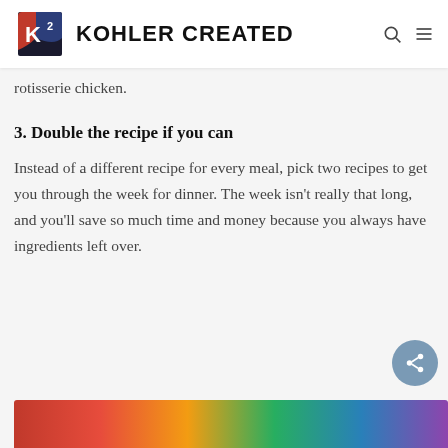KOHLER CREATED
rotisserie chicken.
3. Double the recipe if you can
Instead of a different recipe for every meal, pick two recipes to get you through the week for dinner. The week isn't really that long, and you'll save so much time and money because you always have ingredients left over.
[Figure (photo): Partial bottom image showing colorful food items]